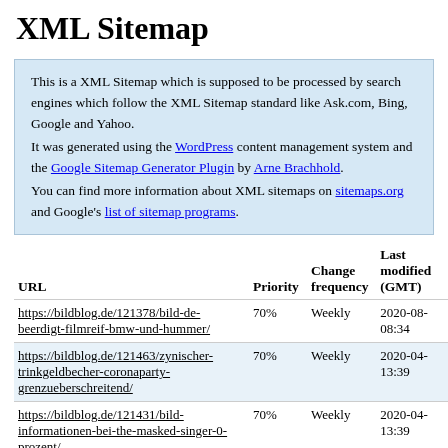XML Sitemap
This is a XML Sitemap which is supposed to be processed by search engines which follow the XML Sitemap standard like Ask.com, Bing, Google and Yahoo.
It was generated using the WordPress content management system and the Google Sitemap Generator Plugin by Arne Brachhold.
You can find more information about XML sitemaps on sitemaps.org and Google's list of sitemap programs.
| URL | Priority | Change frequency | Last modified (GMT) |
| --- | --- | --- | --- |
| https://bildblog.de/121378/bild-de-beerdigt-filmreif-bmw-und-hummer/ | 70% | Weekly | 2020-08- 08:34 |
| https://bildblog.de/121463/zynischer-trinkgeldbecher-coronaparty-grenzueberschreitend/ | 70% | Weekly | 2020-04- 13:39 |
| https://bildblog.de/121431/bild-informationen-bei-the-masked-singer-0-prozent/ | 70% | Weekly | 2020-04- 13:39 |
| https://bildblog.de/121416/corona-lexikon-ruecktritt-oder-auch-nicht-ruth-moschners-telefonterror/ | 70% | Weekly | 2020-04- 13:40 |
| https://bildblog.de/121352/morddrohung-... | 70% | Weekly | 2020-04- |